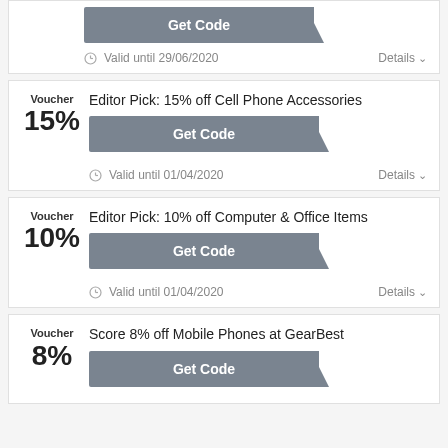Get Code — Valid until 29/06/2020 — Details
Voucher 15% — Editor Pick: 15% off Cell Phone Accessories — Get Code — Valid until 01/04/2020 — Details
Voucher 10% — Editor Pick: 10% off Computer & Office Items — Get Code — Valid until 01/04/2020 — Details
Voucher 8% — Score 8% off Mobile Phones at GearBest — Get Code